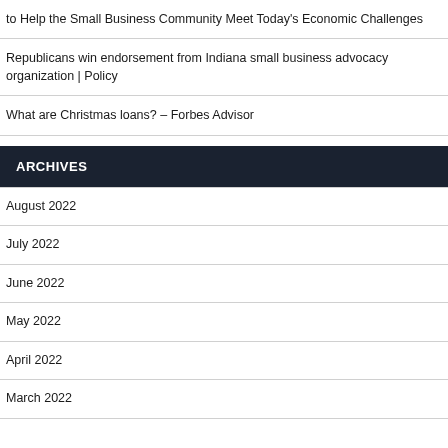to Help the Small Business Community Meet Today's Economic Challenges
Republicans win endorsement from Indiana small business advocacy organization | Policy
What are Christmas loans? – Forbes Advisor
ARCHIVES
August 2022
July 2022
June 2022
May 2022
April 2022
March 2022